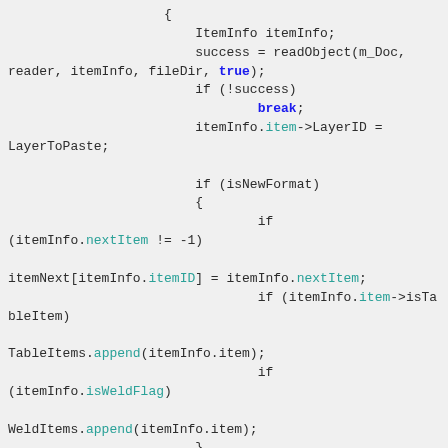Code snippet showing C++ item reading logic with readObject, itemInfo, LayerToPaste, isNewFormat, nextItem, itemID, isTableItem, isWeldFlag, TableItems, WeldItems, else branch with linked chain comment